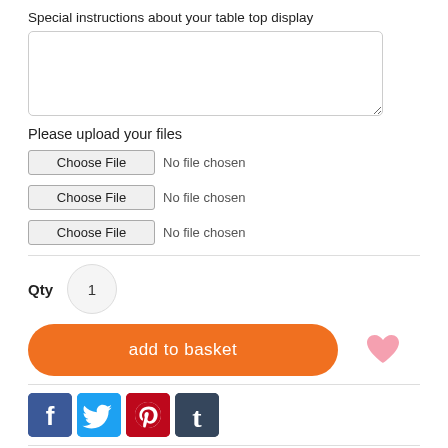Special instructions about your table top display
Please upload your files
Choose File   No file chosen
Choose File   No file chosen
Choose File   No file chosen
Qty  1
add to basket
[Figure (illustration): Pink heart icon used as a wishlist/favourite button]
[Figure (infographic): Social media share icons: Facebook (blue), Twitter (light blue), Pinterest (red/white), Tumblr (dark blue)]